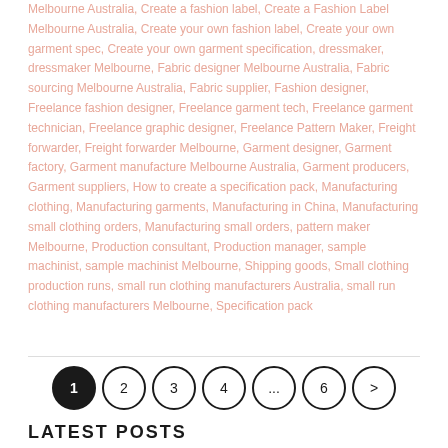Melbourne Australia, Create a fashion label, Create a Fashion Label Melbourne Australia, Create your own fashion label, Create your own garment spec, Create your own garment specification, dressmaker, dressmaker Melbourne, Fabric designer Melbourne Australia, Fabric sourcing Melbourne Australia, Fabric supplier, Fashion designer, Freelance fashion designer, Freelance garment tech, Freelance garment technician, Freelance graphic designer, Freelance Pattern Maker, Freight forwarder, Freight forwarder Melbourne, Garment designer, Garment factory, Garment manufacture Melbourne Australia, Garment producers, Garment suppliers, How to create a specification pack, Manufacturing clothing, Manufacturing garments, Manufacturing in China, Manufacturing small clothing orders, Manufacturing small orders, pattern maker Melbourne, Production consultant, Production manager, sample machinist, sample machinist Melbourne, Shipping goods, Small clothing production runs, small run clothing manufacturers Australia, small run clothing manufacturers Melbourne, Specification pack
1
2
3
4
...
6
>
LATEST POSTS